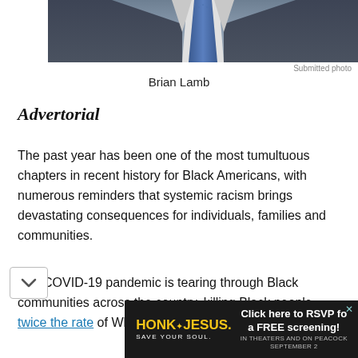[Figure (photo): Cropped photo of a man in a dark suit with blue tie, only the lower portion of the face/neck and torso visible]
Submitted photo
Brian Lamb
Advertorial
The past year has been one of the most tumultuous chapters in recent history for Black Americans, with numerous reminders that systemic racism brings devastating consequences for individuals, families and communities.
The COVID-19 pandemic is tearing through Black communities across the country, killing Black people twice the rate of White Americans, while leaving a trail
[Figure (other): Advertisement banner for 'Honk for Jesus. Save Your Soul.' movie with text 'Click here to RSVP for a FREE screening! IN THEATERS AND ON PEACOCK SEPTEMBER 2']